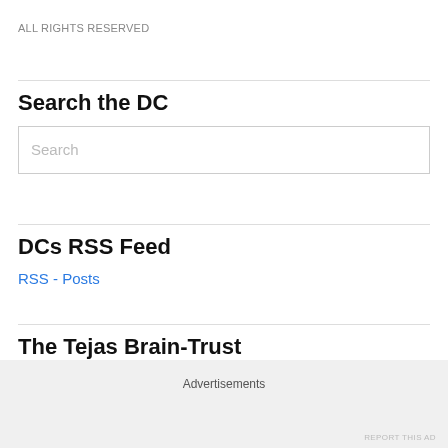ALL RIGHTS RESERVED
Search the DC
Search
DCs RSS Feed
RSS - Posts
The Tejas Brain-Trust
Advertisements